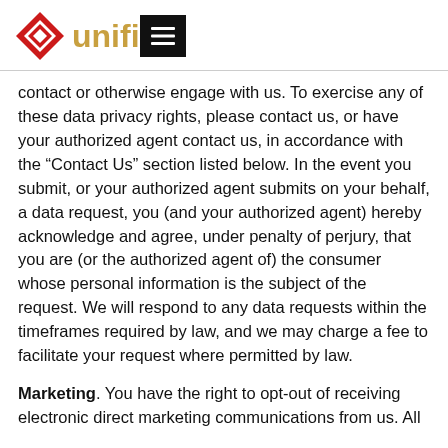unifi [menu icon]
contact or otherwise engage with us. To exercise any of these data privacy rights, please contact us, or have your authorized agent contact us, in accordance with the “Contact Us” section listed below. In the event you submit, or your authorized agent submits on your behalf, a data request, you (and your authorized agent) hereby acknowledge and agree, under penalty of perjury, that you are (or the authorized agent of) the consumer whose personal information is the subject of the request. We will respond to any data requests within the timeframes required by law, and we may charge a fee to facilitate your request where permitted by law.
Marketing. You have the right to opt-out of receiving electronic direct marketing communications from us. All